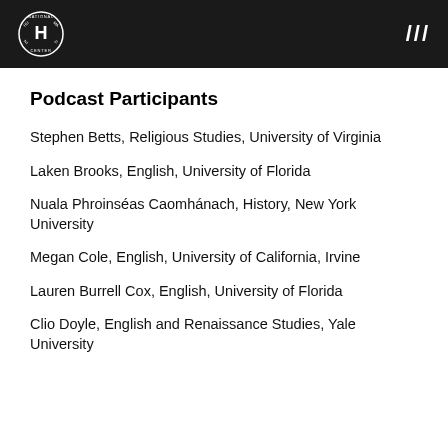National Humanities Center ///
Podcast Participants
Stephen Betts, Religious Studies, University of Virginia
Laken Brooks, English, University of Florida
Nuala Phroinséas Caomhánach, History, New York University
Megan Cole, English, University of California, Irvine
Lauren Burrell Cox, English, University of Florida
Clio Doyle, English and Renaissance Studies, Yale University